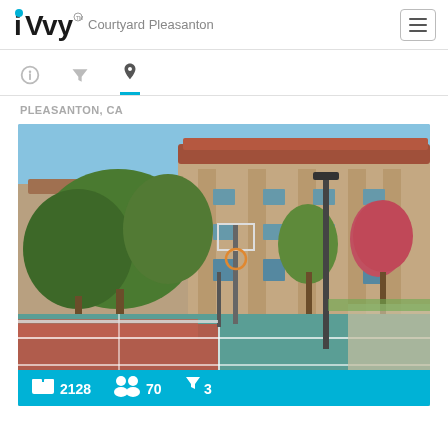iVvy — Courtyard Pleasanton
PLEASANTON, CA
[Figure (photo): Outdoor sports court (multi-use tennis/basketball court) with a basketball hoop, light pole, green and red court surface, and a multi-story tan stucco building with red tile roof in the background, surrounded by trees.]
2128  70  3